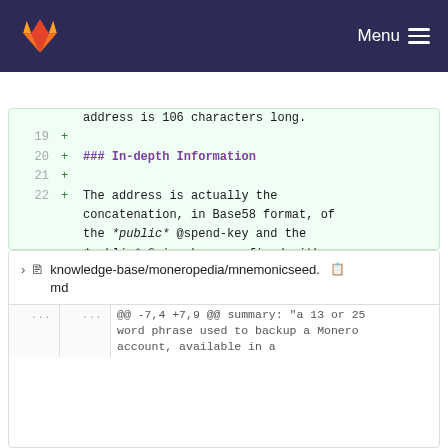Menu
address is 106 characters long.
19 +
20 + ### In-depth Information
21 +
22 + The address is actually the concatenation, in Base58 format, of the *public* @spend-key and the *public* @view-key, prefixed with the network byte (the number 18 for Monero) and suffixed with the first four bytes of the Keccac-256 hash of the whole string (used as a checksum).
knowledge-base/moneropedia/mnemonicseed.md
@@ -7,4 +7,9 @@ summary: "a 13 or 25 word phrase used to backup a Monero account, available in a